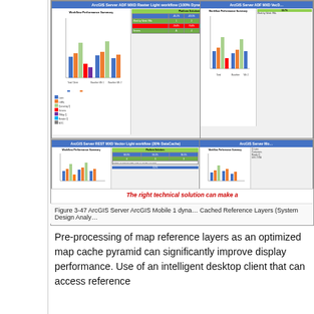[Figure (screenshot): Collage of ArcGIS Server performance analysis screenshots showing workflow performance summaries for ADF MXD Raster Light workflow (100% Dynamic), ADF MXD Vector, REST MXD Vector Light workflow (30% DataCache), and ArcGIS Server Mobile, with bar charts and data tables. A red italic text banner reads 'The right technical solution can make a']
Figure 3-47 ArcGIS Server ArcGIS Mobile 1 dynamic Cached Reference Layers (System Design Analy
Pre-processing of map reference layers as an optimized map cache pyramid can significantly improve display performance. Use of an intelligent desktop client that can access reference